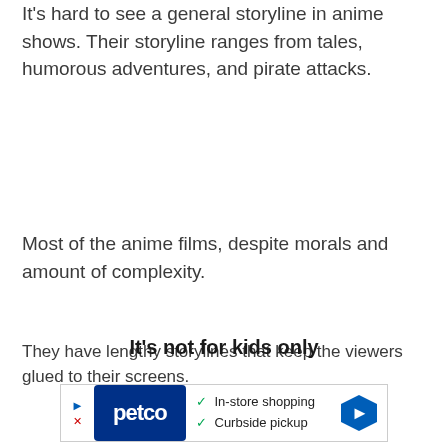It's hard to see a general storyline in anime shows. Their storyline ranges from tales, humorous adventures, and pirate attacks.
Most of the anime films, despite morals and amount of complexity.
They have lengthy storylines that keep the viewers glued to their screens.
It's not for kids only
[Figure (other): Advertisement for Petco featuring 'In-store shopping' and 'Curbside pickup' with checkmarks, Petco logo, and a blue diamond direction arrow icon.]